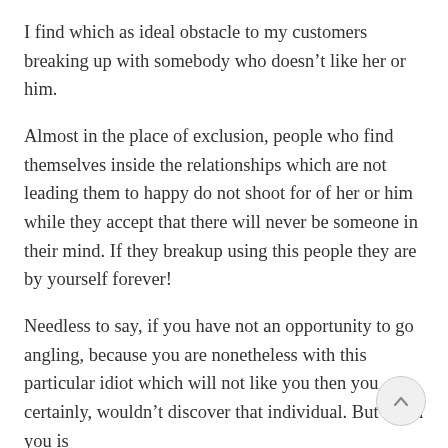I find which as ideal obstacle to my customers breaking up with somebody who doesn't like her or him.
Almost in the place of exclusion, people who find themselves inside the relationships which are not leading them to happy do not shoot for of her or him while they accept that there will never be someone in their mind. If they breakup using this people they are by yourself forever!
Needless to say, if you have not an opportunity to go angling, because you are nonetheless with this particular idiot which will not like you then you certainly, wouldn't discover that individual. But when you is